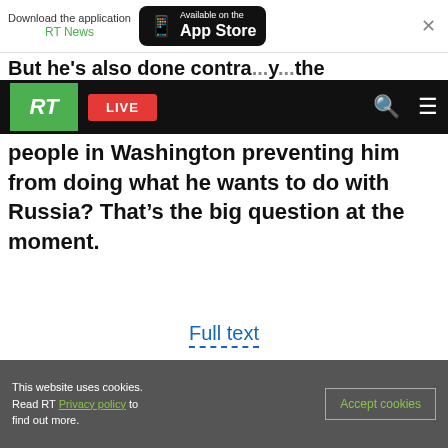[Figure (screenshot): App download banner with RT News logo and Available on the App Store button, and close X button]
But he's also done contra... ...the
[Figure (screenshot): RT website navigation bar with green RT logo, red LIVE button, search icon, and hamburger menu]
people in Washington preventing him from doing what he wants to do with Russia? That's the big question at the moment.
Full text
Podcasts
All podcasts
Dukes of nukes? Dmitry Suslov, Deputy Director at the Center for Comprehensive European and Intl. Studies at HSE
This website uses cookies. Read RT Privacy policy to find out more.
Accept cookies